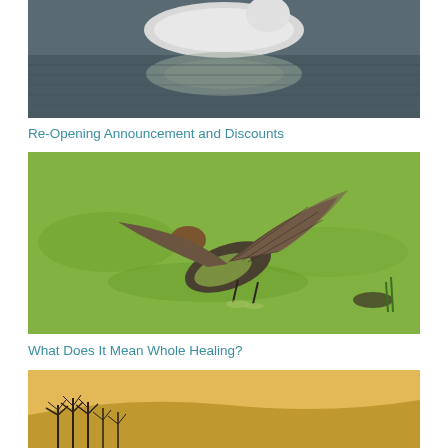[Figure (photo): Close-up photo of a white swan or bird on dark reflective water, partially cropped at top of page]
Re-Opening Announcement and Discounts
[Figure (photo): Bird with wings spread wide, landing or taking off on a bright green algae-covered water surface]
What Does It Mean Whole Healing?
[Figure (photo): Bare winter trees silhouetted against golden sand dunes and warm yellow sky, partially cropped at bottom of page]